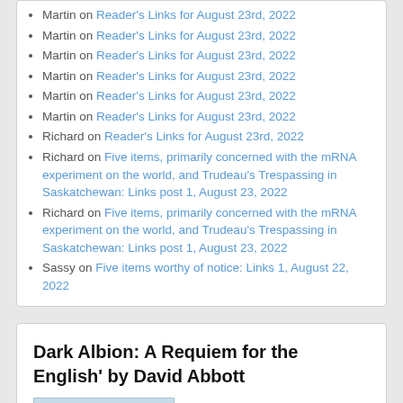Martin on Reader's Links for August 23rd, 2022
Martin on Reader's Links for August 23rd, 2022
Martin on Reader's Links for August 23rd, 2022
Martin on Reader's Links for August 23rd, 2022
Martin on Reader's Links for August 23rd, 2022
Martin on Reader's Links for August 23rd, 2022
Richard on Reader's Links for August 23rd, 2022
Richard on Five items, primarily concerned with the mRNA experiment on the world, and Trudeau's Trespassing in Saskatchewan: Links post 1, August 23, 2022
Richard on Five items, primarily concerned with the mRNA experiment on the world, and Trudeau's Trespassing in Saskatchewan: Links post 1, August 23, 2022
Sassy on Five items worthy of notice: Links 1, August 22, 2022
Dark Albion: A Requiem for the English' by David Abbott
[Figure (other): Blue image placeholder or book cover thumbnail]